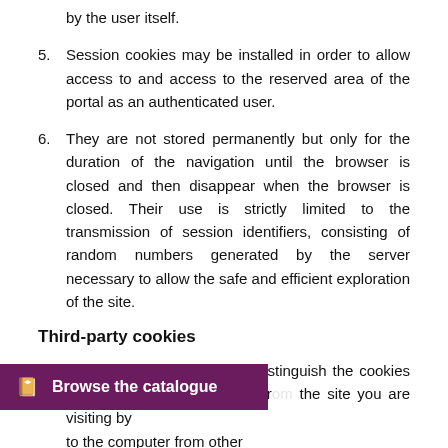by the user itself.
5. Session cookies may be installed in order to allow access to and access to the reserved area of the portal as an authenticated user.
6. They are not stored permanently but only for the duration of the navigation until the browser is closed and then disappear when the browser is closed. Their use is strictly limited to the transmission of session identifiers, consisting of random numbers generated by the server necessary to allow the safe and efficient exploration of the site.
Third-party cookies
1. In relation to the origin, we distinguish the cookies sent to the browser directly from the site you are visiting by ... to the computer from other sites and not from the one you are visiting. We inform
[Figure (other): Purple banner button with book icon and text 'Browse the catalogue']